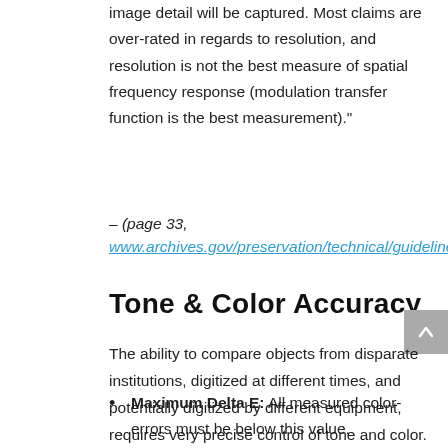image detail will be captured. Most claims are over-rated in regards to resolution, and resolution is not the best measure of spatial frequency response (modulation transfer function is the best measurement)."
– (page 33, www.archives.gov/preservation/technical/guidelines.pdf)
Tone & Color Accuracy
The ability to compare objects from disparate institutions, digitized at different times, and potentially digitized by different equipment, requires very precise control of tone and color. Both FADGI and METAMORFOZE specify tone and color control by providing tolerances for:
Maximum Delta E: All measured color-errors must be below this value.
Average Delta E: The average color-error cannot exceed this.